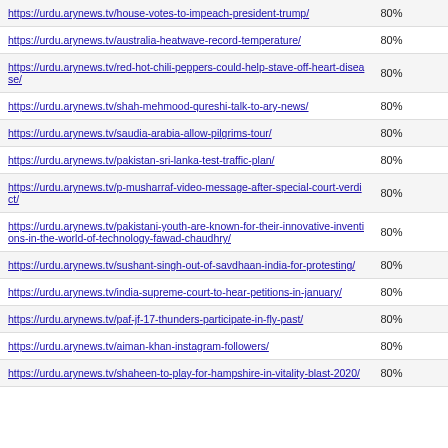| URL | Score |
| --- | --- |
| https://urdu.arynews.tv/house-votes-to-impeach-president-trump/ | 80% |
| https://urdu.arynews.tv/australia-heatwave-record-temperature/ | 80% |
| https://urdu.arynews.tv/red-hot-chili-peppers-could-help-stave-off-heart-disease/ | 80% |
| https://urdu.arynews.tv/shah-mehmood-qureshi-talk-to-ary-news/ | 80% |
| https://urdu.arynews.tv/saudia-arabia-allow-pilgrims-tour/ | 80% |
| https://urdu.arynews.tv/pakistan-sri-lanka-test-traffic-plan/ | 80% |
| https://urdu.arynews.tv/p-musharraf-video-message-after-special-court-verdict/ | 80% |
| https://urdu.arynews.tv/pakistani-youth-are-known-for-their-innovative-inventions-in-the-world-of-technology-fawad-chaudhry/ | 80% |
| https://urdu.arynews.tv/sushant-singh-out-of-savdhaan-india-for-protesting/ | 80% |
| https://urdu.arynews.tv/india-supreme-court-to-hear-petitions-in-january/ | 80% |
| https://urdu.arynews.tv/paf-jf-17-thunders-participate-in-fly-past/ | 80% |
| https://urdu.arynews.tv/aiman-khan-instagram-followers/ | 80% |
| https://urdu.arynews.tv/shaheen-to-play-for-hampshire-in-vitality-blast-2020/ | 80% |